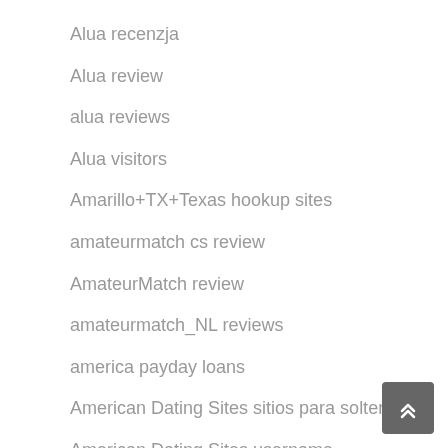Alua recenzja
Alua review
alua reviews
Alua visitors
Amarillo+TX+Texas hookup sites
amateurmatch cs review
AmateurMatch review
amateurmatch_NL reviews
america payday loans
American Dating Sites sitios para solteros
American Dating Sites username
American Women VS Russian Women